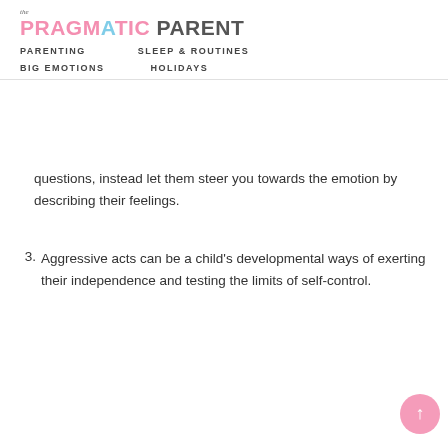The Pragmatic Parent — PARENTING   SLEEP & ROUTINES   BIG EMOTIONS   HOLIDAYS
questions, instead let them steer you towards the emotion by describing their feelings.
3. Aggressive acts can be a child's developmental ways of exerting their independence and testing the limits of self-control.